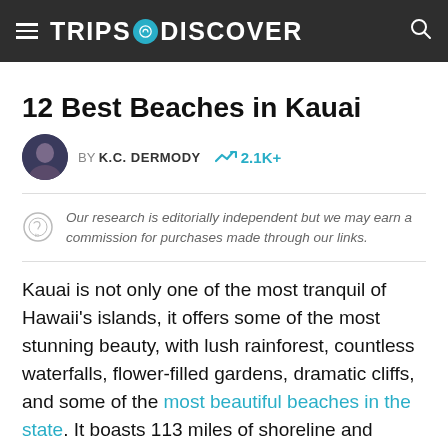TRIPS TO DISCOVER
12 Best Beaches in Kauai
BY K.C. DERMODY  2.1K+
Our research is editorially independent but we may earn a commission for purchases made through our links.
Kauai is not only one of the most tranquil of Hawaii's islands, it offers some of the most stunning beauty, with lush rainforest, countless waterfalls, flower-filled gardens, dramatic cliffs, and some of the most beautiful beaches in the state. It boasts 113 miles of shoreline and nearly 70 beaches, more than any other Hawaiian island. There are stretches for everyone here, whether you're looking for a secluded spot for enjoying magnificent views, a beach with lifeguards and all sorts